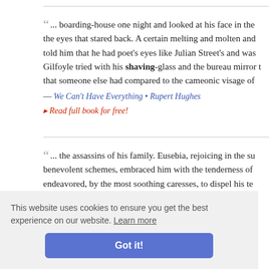... boarding-house one night and looked at his face in the eyes that stared back. A certain melting and molten and told him that he had poet's eyes like Julian Street's and was Gilfoyle tried with his shaving-glass and the bureau mirror t that someone else had compared to the cameonic visage of
— We Can't Have Everything • Rupert Hughes
▸ Read full book for free!
... the assassins of his family. Eusebia, rejoicing in the su benevolent schemes, embraced him with the tenderness of endeavored, by the most soothing caresses, to dispel his te his beard, a Greek ph a few days
nan Empire
This website uses cookies to ensure you get the best experience on our website. Learn more